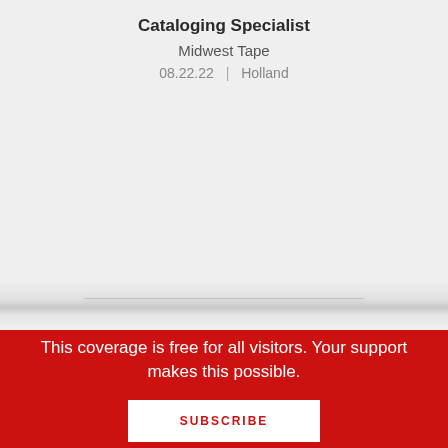Cataloging Specialist
Midwest Tape
08.22.22  |  Holland
This coverage is free for all visitors. Your support makes this possible.
SUBSCRIBE